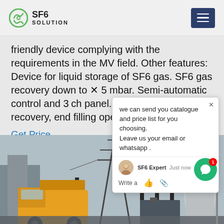SF6 SOLUTION
friendly device complying with the requirements in the MV field. Other features: Device for liquid storage of SF6 gas. SF6 gas recovery down to 5 mbar. Semi-automatic control and 3 ch panel. DN20 coupling for recovery, d nd filling operations.
Get Price
we can send you catalogue and price list for you choosing.
Leave us your email or whatsapp .
[Figure (photo): Industrial electrical substation with high-voltage equipment, transmission towers, insulators, a yellow truck/vehicle in foreground, and cooling towers in background under overcast sky.]